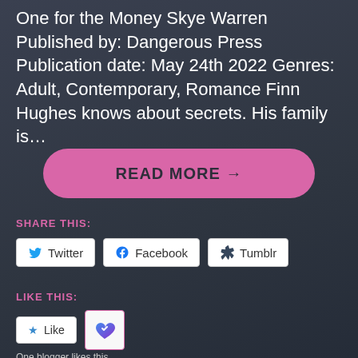One for the Money Skye Warren Published by: Dangerous Press Publication date: May 24th 2022 Genres: Adult, Contemporary, Romance Finn Hughes knows about secrets. His family is...
READ MORE →
SHARE THIS:
Twitter
Facebook
Tumblr
LIKE THIS:
Like
One blogger likes this.